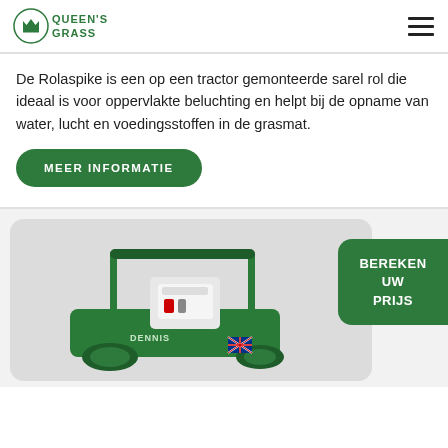Queen's Grass
De Rolaspike is een op een tractor gemonteerde sarel rol die ideaal is voor oppervlakte beluchting en helpt bij de opname van water, lucht en voedingsstoffen in de grasmat.
MEER INFORMATIE
[Figure (photo): Green lawn scarifier / turf aeration machine (Dennis brand) with Honda engine, photographed against a light grey background]
BEREKEN UW PRIJS